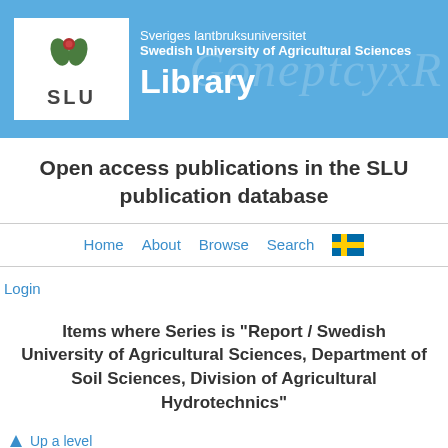[Figure (logo): SLU (Sveriges lantbruksuniversitet / Swedish University of Agricultural Sciences) Library header banner with logo and title]
Open access publications in the SLU publication database
Home  About  Browse  Search
Login
Items where Series is "Report / Swedish University of Agricultural Sciences, Department of Soil Sciences, Division of Agricultural Hydrotechnics"
Up a level
Export as